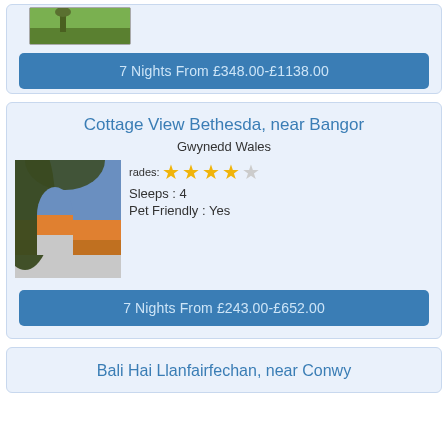7 Nights From £348.00-£1138.00
Cottage View Bethesda, near Bangor
Gwynedd Wales
Grades: ★★★★☆  Sleeps : 4  Pet Friendly : Yes
7 Nights From £243.00-£652.00
Bali Hai Llanfairfechan, near Conwy